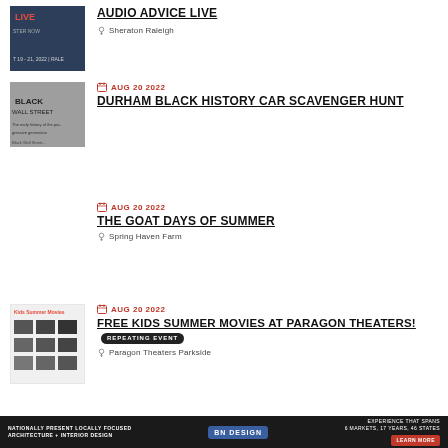[Figure (photo): Audio Advice Live event promotional image, dark blue background with text overlay showing dates Oct 19-21, 2022 Raleigh]
AUDIO ADVICE LIVE
Sheraton Raleigh
[Figure (photo): Black and white newspaper clipping showing text about Black Wall Street]
AUG 20 2022
DURHAM BLACK HISTORY CAR SCAVENGER HUNT
AUG 20 2022
THE GOAT DAYS OF SUMMER
Spring Haven Farm
[Figure (photo): Kids Summer Movies promotional poster with movie thumbnails]
AUG 20 2022
FREE KIDS SUMMER MOVIES AT PARAGON THEATERS! REPEATING EVENT
Paragon Theaters Parkside
NATIONALLY PRESENT LOCALLY FOCUSED ARCHITECTURE + INTERIOR DESIGN | BN DESIGN | EXPERIENCE THAT SPANS 6 MARKETS, 17 YEARS, 46 STATES | LEARN MORE